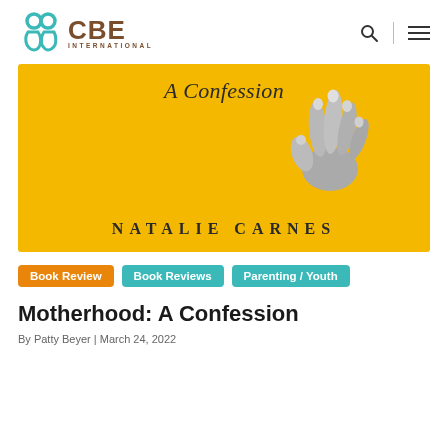[Figure (logo): CBE International logo with teal icon and brown text]
[Figure (illustration): Book cover for 'Motherhood: A Confession' by Natalie Carnes. Yellow/gold background with italic text 'A Confession' at top, a black-and-white image of a hand reaching, and 'NATALIE CARNES' in large spaced caps at bottom.]
Book Review
Book Reviews
Parenting / Youth
Motherhood: A Confession
By Patty Beyer | March 24, 2022